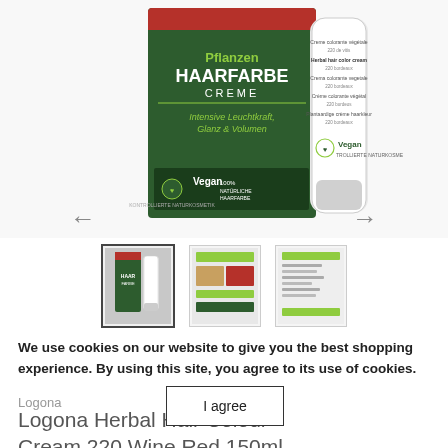[Figure (photo): Product photo of Logona Pflanzen Haarfarbe Creme (Herbal Hair Colour Cream) box in dark green with red accent, showing vegan label, alongside a white tube. Box text includes 'Intensive Leuchtkraft, Glanz & Volumen' and '100% Natürliche Haarfarbe'.]
[Figure (photo): Three thumbnail images: first shows the product box and bottle (highlighted with border), second shows a color swatch card, third shows ingredient/information sheet.]
We use cookies on our website to give you the best shopping experience. By using this site, you agree to its use of cookies.
Logona
Logona Herbal Hair Colour Cream 220 Wine Red 150ml
I agree